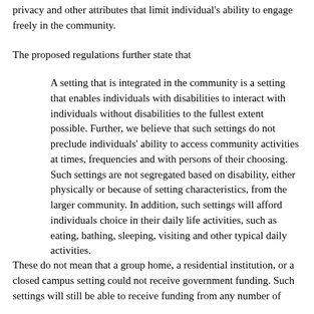privacy and other attributes that limit individual's ability to engage freely in the community.
The proposed regulations further state that
A setting that is integrated in the community is a setting that enables individuals with disabilities to interact with individuals without disabilities to the fullest extent possible. Further, we believe that such settings do not preclude individuals' ability to access community activities at times, frequencies and with persons of their choosing. Such settings are not segregated based on disability, either physically or because of setting characteristics, from the larger community. In addition, such settings will afford individuals choice in their daily life activities, such as eating, bathing, sleeping, visiting and other typical daily activities.
These do not mean that a group home, a residential institution, or a closed campus setting could not receive government funding. Such settings will still be able to receive funding from any number of the...